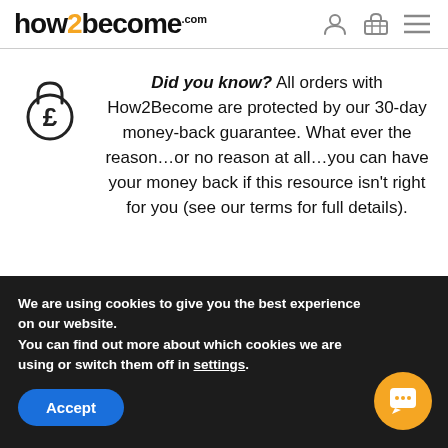how2become.com
[Figure (logo): how2become.com logo with orange '2']
Did you know? All orders with How2Become are protected by our 30-day money-back guarantee. What ever the reason…or no reason at all…you can have your money back if this resource isn't right for you (see our terms for full details).
We are using cookies to give you the best experience on our website.
You can find out more about which cookies we are using or switch them off in settings.
Accept